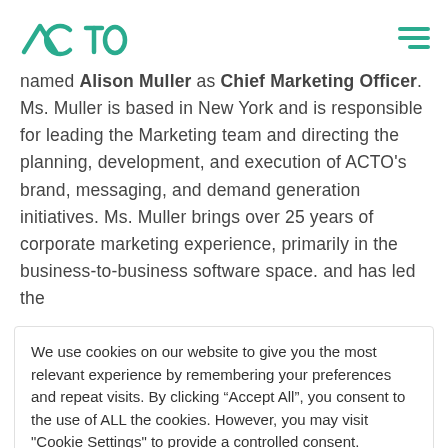ACTO [logo] [hamburger menu]
named Alison Muller as Chief Marketing Officer. Ms. Muller is based in New York and is responsible for leading the Marketing team and directing the planning, development, and execution of ACTO’s brand, messaging, and demand generation initiatives. Ms. Muller brings over 25 years of corporate marketing experience, primarily in the business-to-business software space. and has led the
We use cookies on our website to give you the most relevant experience by remembering your preferences and repeat visits. By clicking “Accept All”, you consent to the use of ALL the cookies. However, you may visit "Cookie Settings" to provide a controlled consent.